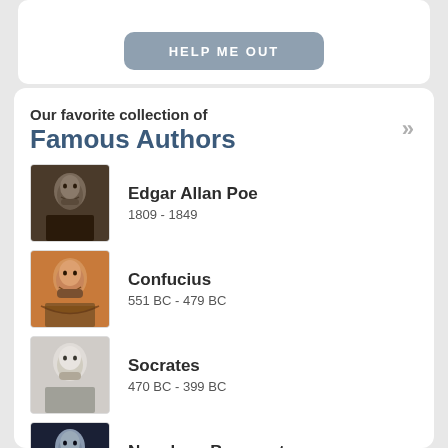[Figure (screenshot): Button with text partially visible at top]
Our favorite collection of Famous Authors
Edgar Allan Poe
1809 - 1849
Confucius
551 BC - 479 BC
Socrates
470 BC - 399 BC
Napoleon Bonaparte
1769 - 1821
John Fitzgerald Kennedy
1917 - 1963